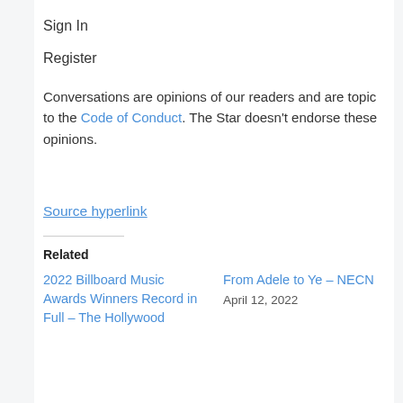Sign In
Register
Conversations are opinions of our readers and are topic to the Code of Conduct. The Star doesn't endorse these opinions.
Source hyperlink
Related
2022 Billboard Music Awards Winners Record in Full – The Hollywood
From Adele to Ye – NECN
April 12, 2022